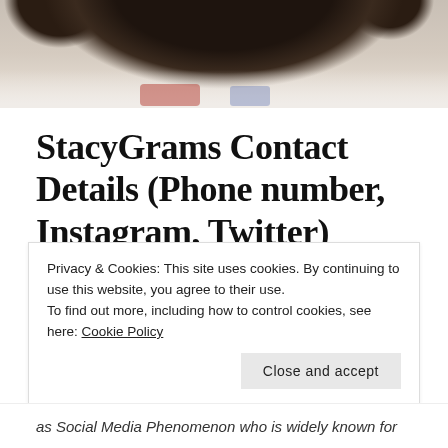[Figure (photo): Top portion of a photo showing a person with dark hair, wearing a light-colored sweater with colorful details, cropped at the shoulders.]
StacyGrams Contact Details (Phone number, Instagram, Twitter)
/
Privacy & Cookies: This site uses cookies. By continuing to use this website, you agree to their use.
To find out more, including how to control cookies, see here: Cookie Policy
Close and accept
as Social Media Phenomenon who is widely known for